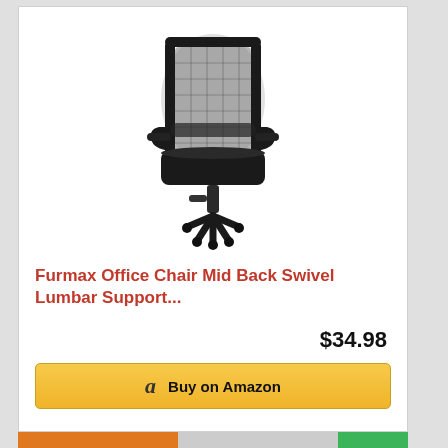[Figure (photo): Black mesh mid-back office chair with armrests, lumbar support, and five-star wheeled base on a white background]
Furmax Office Chair Mid Back Swivel Lumbar Support...
$34.98
Buy on Amazon